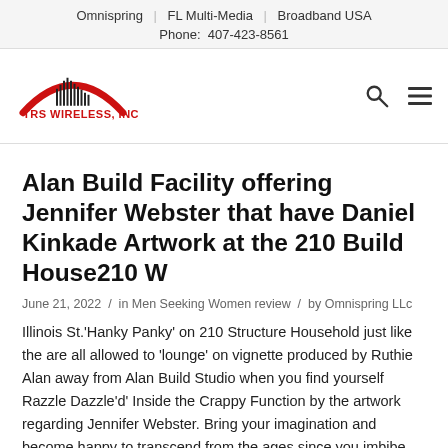Omnispring | FL Multi-Media | Broadband USA
Phone: 407-423-8561
[Figure (logo): TRS Wireless, Inc. logo with red arch and sound wave bars graphic]
Alan Build Facility offering Jennifer Webster that have Daniel Kinkade Artwork at the 210 Build House210 W
June 21, 2022 / in Men Seeking Women review / by Omnispring LLc
Illinois St.'Hanky Panky' on 210 Structure Household just like the are all allowed to 'lounge' on vignette produced by Ruthie Alan away from Alan Build Studio when you find yourself Razzle Dazzle'd' Inside the Crappy Function by the artwork regarding Jennifer Webster. Bring your imagination and become happy to transcend from the ages since you imbibe